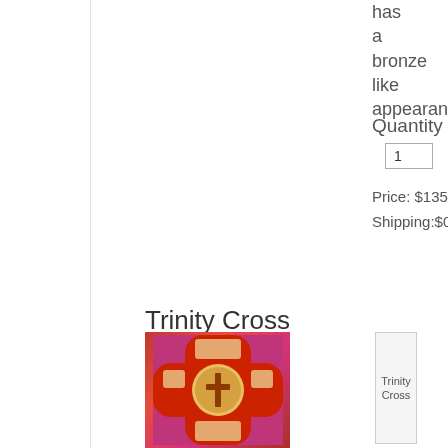has a bronze like appearance.
Quantity
1
Price: $135.00
Shipping:$0.00
Trinity Cross
[Figure (photo): Photo of a red ceramic Trinity Cross with colorful religious iconography painted in a cross shape on a magenta/pink background]
[Figure (photo): Small thumbnail image placeholder labeled Trinity Cross]